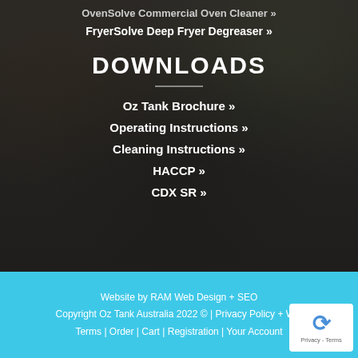OvenSolve Commercial Oven Cleaner »
FryerSolve Deep Fryer Degreaser »
DOWNLOADS
Oz Tank Brochure »
Operating Instructions »
Cleaning Instructions »
HACCP »
CDX SR »
Website by RAM Web Design + SEO
Copyright Oz Tank Australia 2022 © | Privacy Policy + W...
Terms | Order | Cart | Registration | Your Account